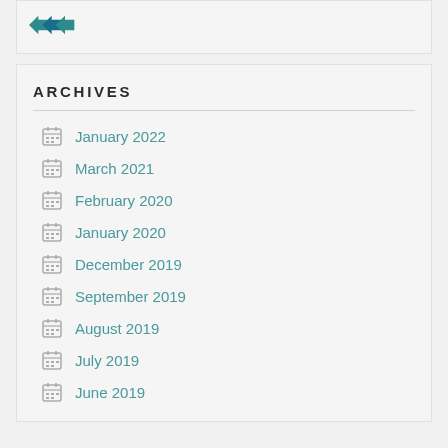[Figure (logo): Teal/dark blue logo graphic at top]
ARCHIVES
January 2022
March 2021
February 2020
January 2020
December 2019
September 2019
August 2019
July 2019
June 2019